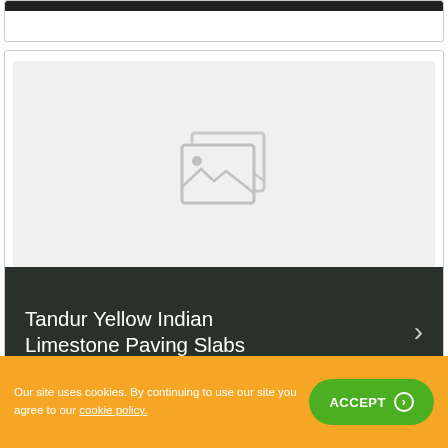[Figure (other): Top card with dark header bar, partially visible product card]
[Figure (photo): Product card with image placeholder (two overlapping photo icons on grey background) and dark banner label reading 'Tandur Yellow Indian Limestone Paving Slabs' with a right chevron arrow]
Tandur Yellow Indian Limestone Paving Slabs
Our site uses cookies. By continuing to use our site you agree to our cookie policy. ACCEPT